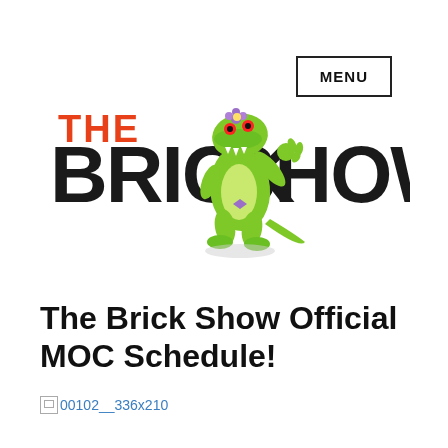MENU
[Figure (logo): The Brick Show logo with a cartoon green crocodile mascot standing upright, wearing a purple flower. The word THE is in red/orange, BRICK and SHOW are in large bold black text, with the crocodile overlapping between BRICK and SHOW.]
The Brick Show Official MOC Schedule!
00102__336x210